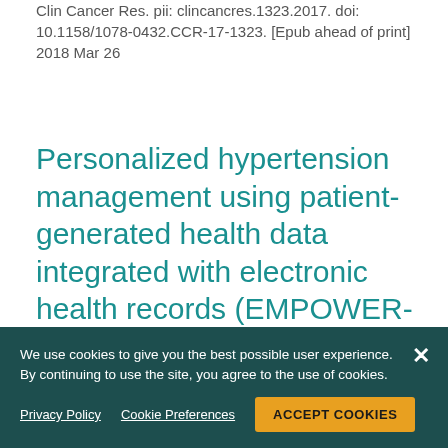Clin Cancer Res. pii: clincancres.1323.2017. doi: 10.1158/1078-0432.CCR-17-1323. [Epub ahead of print]
2018 Mar 26
Personalized hypertension management using patient-generated health data integrated with electronic health records (EMPOWER-H): six-month pre-post study.
Lv N, Xiao L, Simmons ML, Rosas LG, Chan A, Entwistle M.
We use cookies to give you the best possible user experience. By continuing to use the site, you agree to the use of cookies.
Privacy Policy   Cookie Preferences   ACCEPT COOKIES